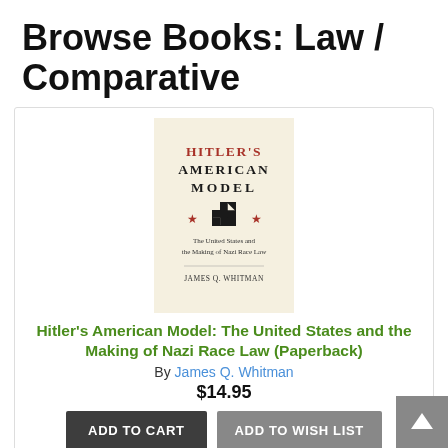Browse Books: Law / Comparative
[Figure (illustration): Book cover for Hitler's American Model showing cream background with red and black title text, a swastika symbol between two stars, subtitle 'The United States and the Making of Nazi Race Law', and author name James Q. Whitman]
Hitler's American Model: The United States and the Making of Nazi Race Law (Paperback)
By James Q. Whitman
$14.95
ADD TO CART
ADD TO WISH LIST
Usually Arrives in 2-10 Days